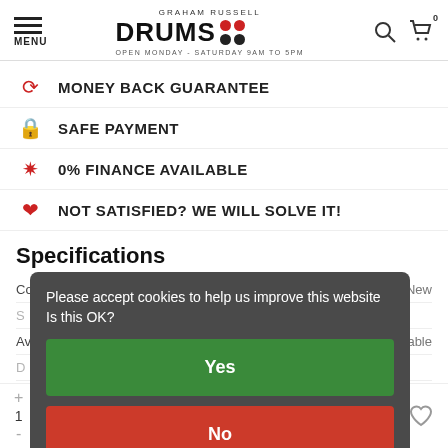GRAHAM RUSSELL DRUMS | OPEN MONDAY - SATURDAY 9AM TO 5PM | MENU | Cart: 0
MONEY BACK GUARANTEE
SAFE PAYMENT
0% FINANCE AVAILABLE
NOT SATISFIED? WE WILL SOLVE IT!
Specifications
| Field | Value |
| --- | --- |
| Condition: | New |
| Availability: | Out of stock, but available |
[Figure (screenshot): Cookie consent overlay with dark grey background. Text: 'Please accept cookies to help us improve this website Is this OK?' with green 'Yes' button and red 'No' button, plus dark 'More on cookies »' link at bottom.]